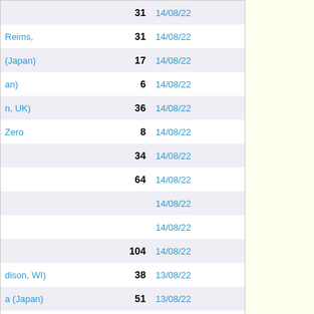| Location | Number | Date |
| --- | --- | --- |
|  | 31 | 14/08/22 |
| Reims, | 31 | 14/08/22 |
| (Japan) | 17 | 14/08/22 |
| an) | 6 | 14/08/22 |
| n, UK) | 36 | 14/08/22 |
| Zero | 8 | 14/08/22 |
|  | 34 | 14/08/22 |
|  | 64 | 14/08/22 |
|  |  | 14/08/22 |
|  |  | 14/08/22 |
|  | 104 | 14/08/22 |
| dison, WI) | 38 | 13/08/22 |
| a (Japan) | 51 | 13/08/22 |
| eezy Game | 14 | 13/08/22 |
|  | 14 | 13/08/22 |
| nton, AB) | 41 | 13/08/22 |